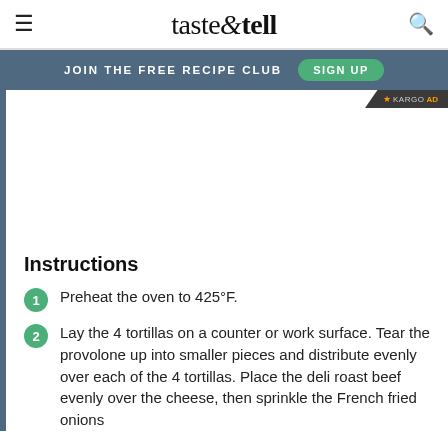taste & tell
JOIN THE FREE RECIPE CLUB   SIGN UP
[Figure (other): Advertisement area with Kargo ad badge in upper right corner]
Instructions
1. Preheat the oven to 425°F.
2. Lay the 4 tortillas on a counter or work surface. Tear the provolone up into smaller pieces and distribute evenly over each of the 4 tortillas. Place the deli roast beef evenly over the cheese, then sprinkle the French fried onions